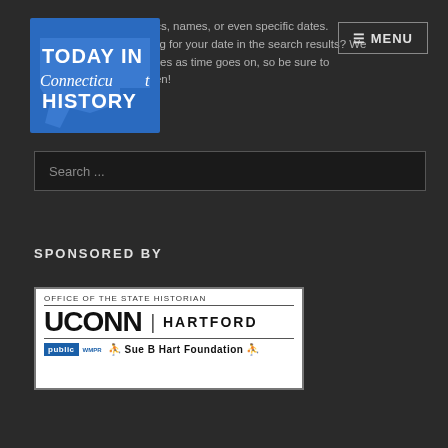[Figure (logo): Today in Connecticut History logo — blue map of Connecticut with white text overlay]
You can search for topics, names, or even specific dates. Not finding your date in the search results? We are adding more dates as time goes on, so be sure to check back often!
[Figure (screenshot): Menu navigation button with hamburger icon and MENU text]
Search ...
SPONSORED BY
[Figure (logo): Sponsor logo block: Office of the State Historian, UConn Hartford, Public WMPR, Sue B Hart Foundation]